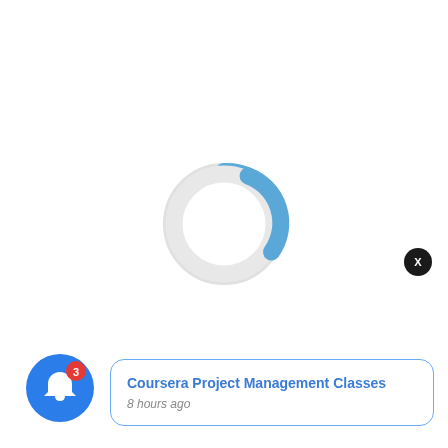[Figure (other): Circular loading spinner with a blue arc on the right side, rest of circle in light gray, indicating loading progress]
[Figure (other): Blue circular bell notification icon with a red badge showing the number 3]
X
Coursera Project Management Classes
8 hours ago